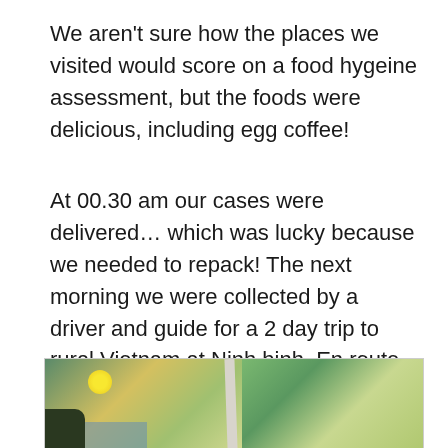We aren't sure how the places we visited would score on a food hygeine assessment, but the foods were delicious, including egg coffee!
At 00.30 am our cases were delivered… which was lucky because we needed to repack! The next morning we were collected by a driver and guide for a 2 day trip to rural Vietnam at Ninh binh. En route we saw some beautiful hand embroidery, and a very unusual way of differentiating mens and ladies loos!
[Figure (photo): Partial view of what appears to be embroidery or artwork photos laid out on a surface, showing tropical/coastal scenes with palm trees and sandy scenery.]